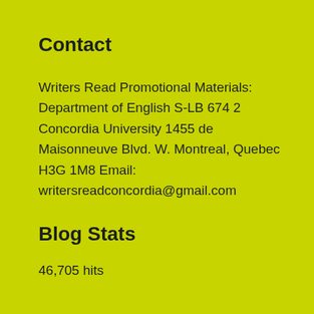Contact
Writers Read Promotional Materials: Department of English S-LB 674 2 Concordia University 1455 de Maisonneuve Blvd. W. Montreal, Quebec H3G 1M8 Email: writersreadconcordia@gmail.com
Blog Stats
46,705 hits